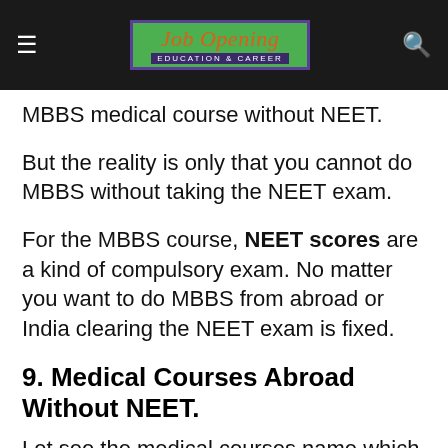Job Opening EDUCATION & CAREER
MBBS medical course without NEET.
But the reality is only that you cannot do MBBS without taking the NEET exam.
For the MBBS course, NEET scores are a kind of compulsory exam. No matter you want to do MBBS from abroad or India clearing the NEET exam is fixed.
9. Medical Courses Abroad Without NEET.
Let see the medical courses name which you can